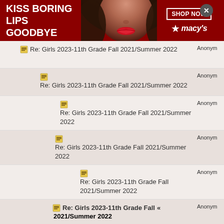[Figure (photo): Macy's advertisement banner: red background, woman's face with red lips, text 'KISS BORING LIPS GOODBYE', 'SHOP NOW' button, Macy's logo with star]
Re: Girls 2023-11th Grade Fall 2021/Summer 2022 — Anonym
Re: Girls 2023-11th Grade Fall 2021/Summer 2022 — Anonym
Re: Girls 2023-11th Grade Fall 2021/Summer 2022 — Anonym
Re: Girls 2023-11th Grade Fall 2021/Summer 2022 — Anonym
Re: Girls 2023-11th Grade Fall 2021/Summer 2022 — Anonym
Re: Girls 2023-11th Grade Fall 2021/Summer 2022 « — Anonym (bold/current)